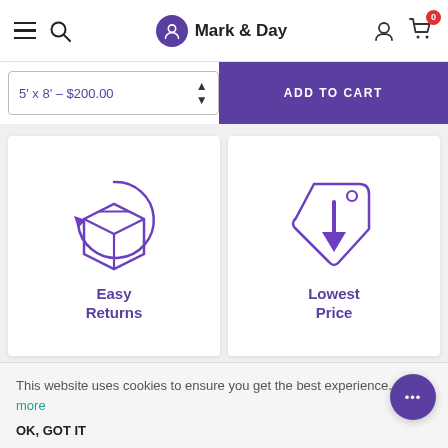Mark & Day — navigation header with hamburger menu, search, logo, user account, cart (0)
5' x 8' – $200.00
ADD TO CART
[Figure (illustration): Purple icon of a box with a circular return arrow, labeled Easy Returns]
[Figure (illustration): Purple icon of a price tag with a downward arrow, labeled Lowest Price]
This website uses cookies to ensure you get the best experience. Learn more
OK, GOT IT